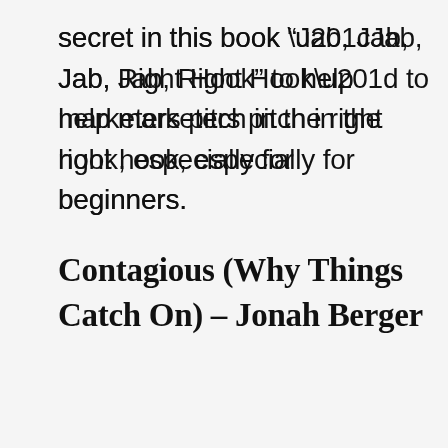secret in this book “Jab, Jab, Jab, Right Hook” to help marketers pitch in the right hook, especially for beginners.
Contagious (Why Things Catch On) – Jonah Berger